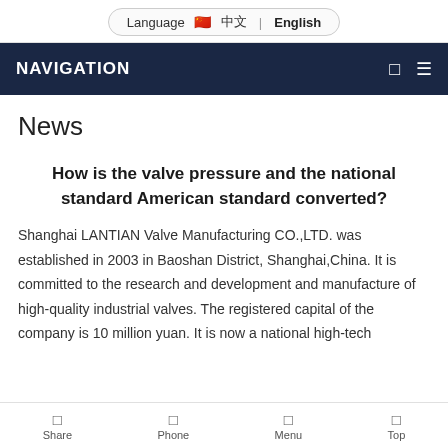Language 🇨🇳 中文 | English
NAVIGATION
News
How is the valve pressure and the national standard American standard converted?
Shanghai LANTIAN Valve Manufacturing CO.,LTD. was established in 2003 in Baoshan District, Shanghai,China. It is committed to the research and development and manufacture of high-quality industrial valves. The registered capital of the company is 10 million yuan. It is now a national high-tech
Share | Phone | Menu | Top